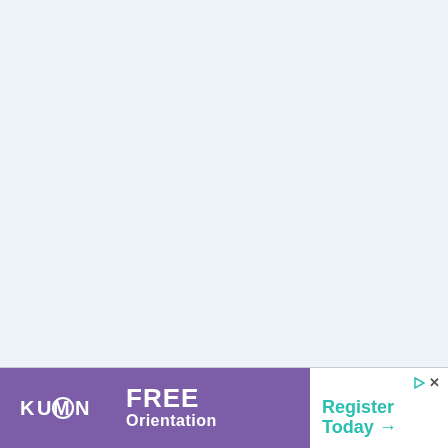[Figure (other): Light blue/lavender background area filling most of the page above the advertisement banner]
[Figure (other): Kumon advertisement banner at bottom: purple section with Kumon logo and 'FREE Orientation' text, white section with 'Register Today →' in teal]